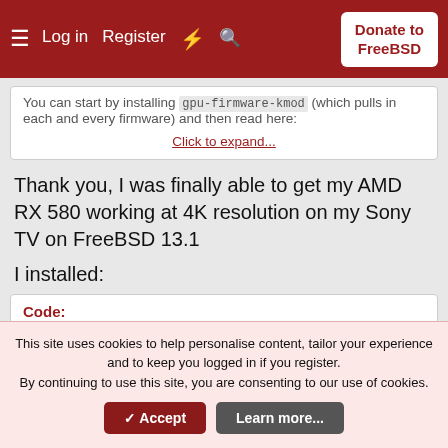Log in   Register   Donate to FreeBSD
You can start by installing gpu-firmware-kmod (which pulls in each and every firmware) and then read here:
Click to expand...
Thank you, I was finally able to get my AMD RX 580 working at 4K resolution on my Sony TV on FreeBSD 13.1
I installed:
Code: cd /usr/ports/graphics/drm-510-kmod/ && ma
This site uses cookies to help personalise content, tailor your experience and to keep you logged in if you register.
By continuing to use this site, you are consenting to our use of cookies.
Accept   Learn more...